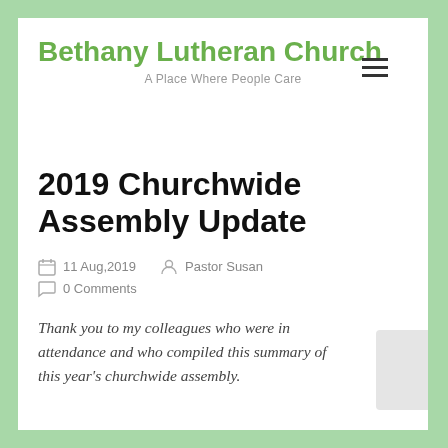Bethany Lutheran Church
A Place Where People Care
2019 Churchwide Assembly Update
11 Aug,2019   Pastor Susan   0 Comments
Thank you to my colleagues who were in attendance and who compiled this summary of this year's churchwide assembly.